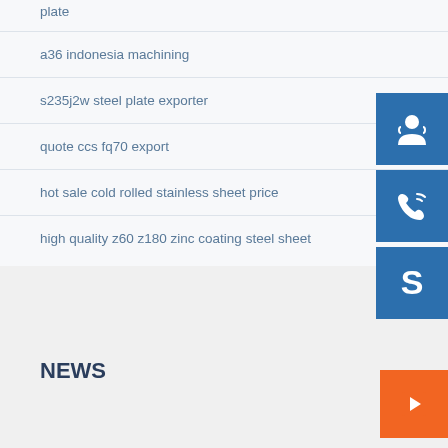plate
a36 indonesia machining
s235j2w steel plate exporter
quote ccs fq70 export
hot sale cold rolled stainless sheet price
high quality z60 z180 zinc coating steel sheet
[Figure (illustration): Blue square button with white customer support headset/person icon]
[Figure (illustration): Blue square button with white telephone/call icon]
[Figure (illustration): Blue square button with white Skype logo icon]
[Figure (illustration): Orange square button with white right-arrow icon]
NEWS